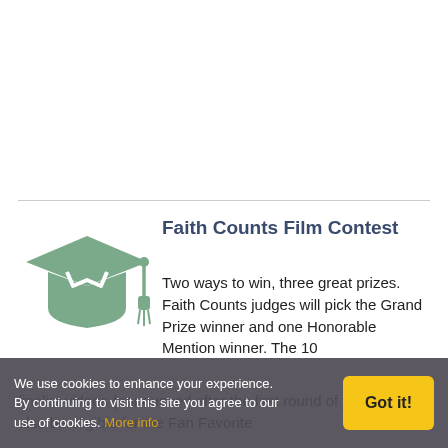[Figure (illustration): Graduation cap icon in muted green/teal color]
Faith Counts Film Contest
Two ways to win, three great prizes. Faith Counts judges will pick the Grand Prize winner and one Honorable Mention winner. The 10 finalist videos (announced after the first round of judging) will also be eligible for the Fan Favorite
We use cookies to enhance your experience. By continuing to visit this site you agree to our use of cookies. More info